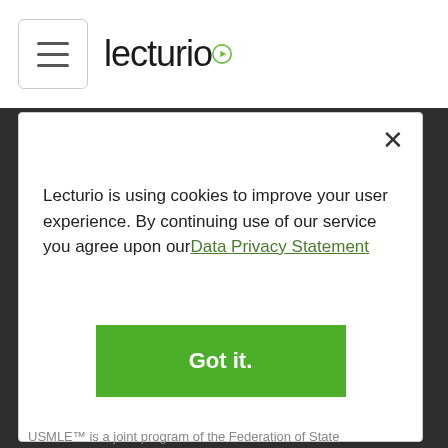Lecturio
Development Initiative
Website Owners
SUPPORT
Help
Contact
Lecturio is using cookies to improve your user experience. By continuing use of our service you agree upon our Data Privacy Statement
Got it.
USMLE™ is a joint program of the Federation of State